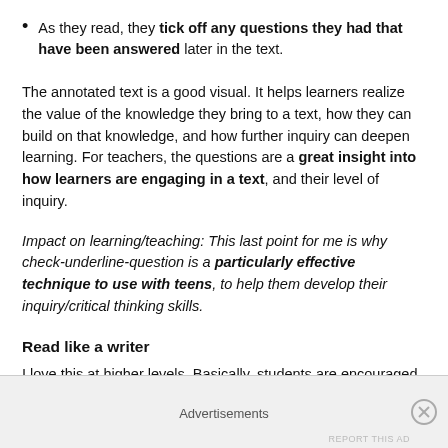As they read, they tick off any questions they had that have been answered later in the text.
The annotated text is a good visual. It helps learners realize the value of the knowledge they bring to a text, how they can build on that knowledge, and how further inquiry can deepen learning. For teachers, the questions are a great insight into how learners are engaging in a text, and their level of inquiry.
Impact on learning/teaching: This last point for me is why check-underline-question is a particularly effective technique to use with teens, to help them develop their inquiry/critical thinking skills.
Read like a writer
I love this at higher levels. Basically, students are encouraged to
Advertisements